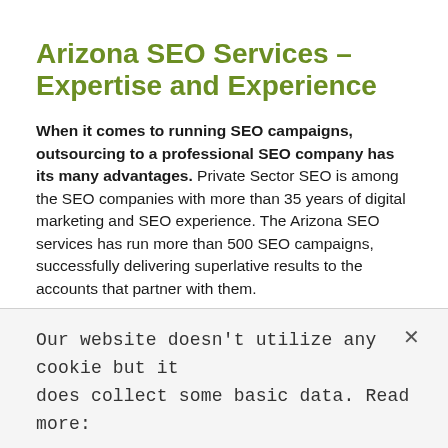Arizona SEO Services – Expertise and Experience
When it comes to running SEO campaigns, outsourcing to a professional SEO company has its many advantages. Private Sector SEO is among the SEO companies with more than 35 years of digital marketing and SEO experience. The Arizona SEO services has run more than 500 SEO campaigns, successfully delivering superlative results to the accounts that partner with them.
The experienced SEO company has done thorough research
Our website doesn't utilize any cookie but it does collect some basic data. Read more: